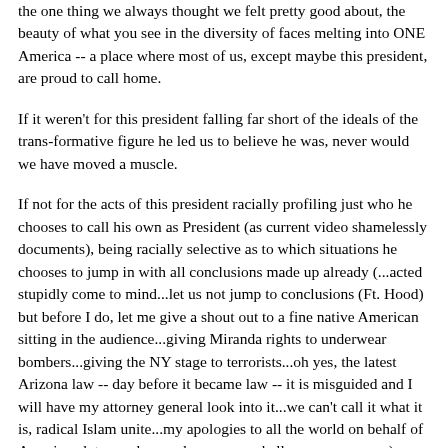the one thing we always thought we felt pretty good about, the beauty of what you see in the diversity of faces melting into ONE  America -- a place where most of us, except maybe this president, are proud to call home.
If it weren't for this president falling far short of the ideals of the trans-formative figure he led us to believe he was, never would we have moved a muscle.
If not for the acts of this president racially profiling just who he chooses to call his own as President (as current video shamelessly documents), being racially selective as to which situations he chooses to jump in with all conclusions made up already (...acted stupidly come to mind...let us not jump to conclusions (Ft. Hood)  but before I do, let me give a shout out to a fine native American sitting in the audience...giving Miranda rights to underwear bombers...giving the NY stage to terrorists...oh yes, the latest Arizona law -- day before it became law -- it is misguided and I will have my attorney general look into it...we can't call it what it is, radical Islam unite...my apologies to all the world on behalf of America...let me... bow ...down...now shall we move on.org)